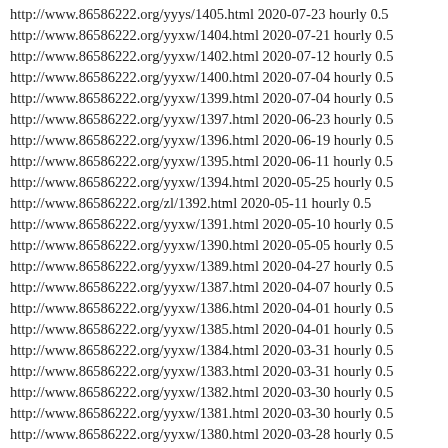http://www.86586222.org/yyys/1405.html 2020-07-23 hourly 0.5
http://www.86586222.org/yyxw/1404.html 2020-07-21 hourly 0.5
http://www.86586222.org/yyxw/1402.html 2020-07-12 hourly 0.5
http://www.86586222.org/yyxw/1400.html 2020-07-04 hourly 0.5
http://www.86586222.org/yyxw/1399.html 2020-07-04 hourly 0.5
http://www.86586222.org/yyxw/1397.html 2020-06-23 hourly 0.5
http://www.86586222.org/yyxw/1396.html 2020-06-19 hourly 0.5
http://www.86586222.org/yyxw/1395.html 2020-06-11 hourly 0.5
http://www.86586222.org/yyxw/1394.html 2020-05-25 hourly 0.5
http://www.86586222.org/zl/1392.html 2020-05-11 hourly 0.5
http://www.86586222.org/yyxw/1391.html 2020-05-10 hourly 0.5
http://www.86586222.org/yyxw/1390.html 2020-05-05 hourly 0.5
http://www.86586222.org/yyxw/1389.html 2020-04-27 hourly 0.5
http://www.86586222.org/yyxw/1387.html 2020-04-07 hourly 0.5
http://www.86586222.org/yyxw/1386.html 2020-04-01 hourly 0.5
http://www.86586222.org/yyxw/1385.html 2020-04-01 hourly 0.5
http://www.86586222.org/yyxw/1384.html 2020-03-31 hourly 0.5
http://www.86586222.org/yyxw/1383.html 2020-03-31 hourly 0.5
http://www.86586222.org/yyxw/1382.html 2020-03-30 hourly 0.5
http://www.86586222.org/yyxw/1381.html 2020-03-30 hourly 0.5
http://www.86586222.org/yyxw/1380.html 2020-03-28 hourly 0.5
http://www.86586222.org/yyxw/1379.html 2020-03-28 hourly 0.5
http://www.86586222.org/yyxw/1378.html 2020-03-27 hourly 0.5
http://www.86586222.org/yyxw/1377.html 2020-03-27 hourly 0.5
http://www.86586222.org/yyxw/1376.html 2020-03-26 hourly 0.5